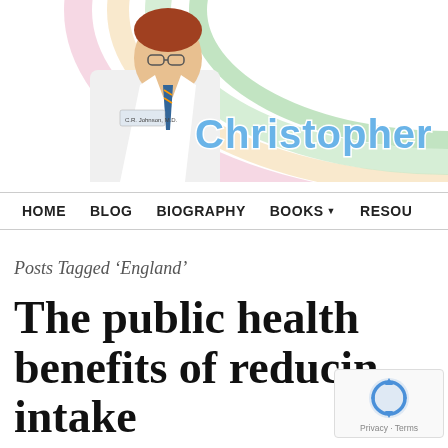[Figure (photo): Website banner for a medical professional named Christopher, featuring a doctor in a white coat with a rainbow gradient background and the name 'Christopher' in blue bubble letters]
HOME   BLOG   BIOGRAPHY   BOOKS ▾   RESOU
Posts Tagged 'England'
The public health benefits of reducing intake